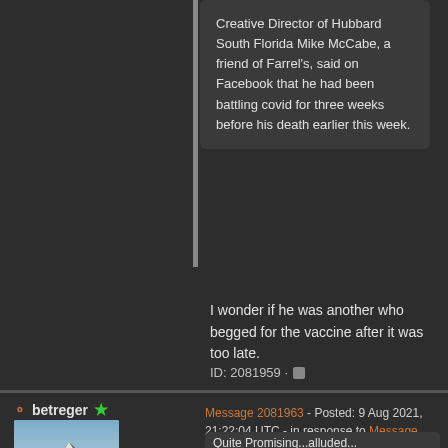Creative Director of Hubbard South Florida Mike McCabe, a friend of Farrel's, said on Facebook that he had been battling covid for three weeks before his death earlier this week.
I wonder if he was another who begged for the vaccine after it was too late.
ID: 2081959 ·
betreger
Message 2081963 - Posted: 9 Aug 2021, 21:22:04 UTC - in response to Message 2081959.
Quite Promising...alluded...